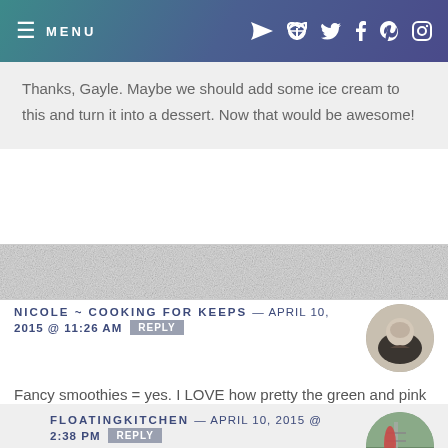MENU
Thanks, Gayle. Maybe we should add some ice cream to this and turn it into a dessert. Now that would be awesome!
NICOLE ~ COOKING FOR KEEPS — APRIL 10, 2015 @ 11:26 AM REPLY
Fancy smoothies = yes. I LOVE how pretty the green and pink are together, plus strawberry rhubarb is a combination I can't get enough of lately!
FLOATINGKITCHEN — APRIL 10, 2015 @ 2:38 PM REPLY